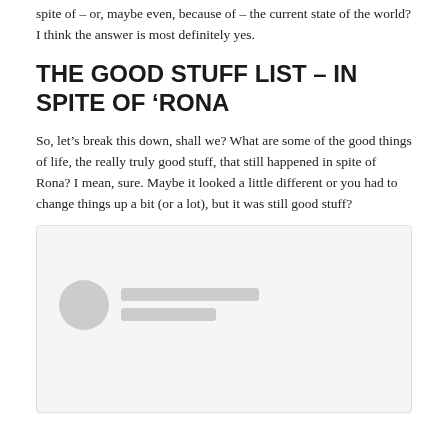spite of – or, maybe even, because of – the current state of the world?  I think the answer is most definitely yes.
THE GOOD STUFF LIST – IN SPITE OF ‘RONA
So, let’s break this down, shall we?  What are some of the good things of life, the really truly good stuff, that still happened in spite of Rona?  I mean, sure.  Maybe it looked a little different or you had to change things up a bit (or a lot), but it was still good stuff?
[Figure (screenshot): A social media post preview placeholder with a gray avatar circle and two gray placeholder text lines on a light gray background]